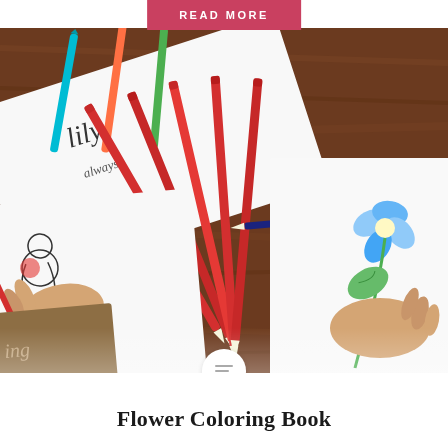READ MORE
[Figure (photo): Overhead view of a wooden desk with colored pencils fanned out and two children's hands coloring flower illustrations on white paper. Several red pencils dominate the center, with other colors scattered. A partially visible coloring book with blue flower illustrations is on the right side.]
Flower Coloring Book